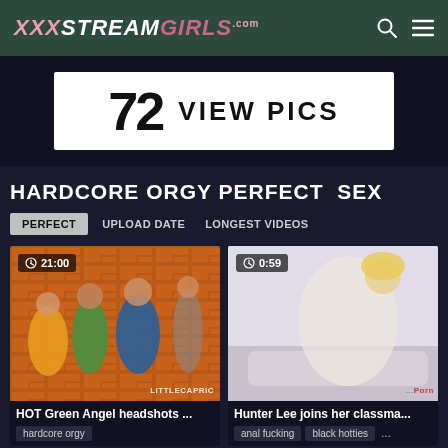XXXSTREAMGIRLS.com
[Figure (screenshot): Banner ad showing '72 VIEW PICS' in large bold text on white background]
HARDCORE ORGY PERFECT SEX
PERFECT  UPLOAD DATE  LONGEST VIDEOS
[Figure (photo): HOT Green Angel headshots ... video thumbnail, 21:00 duration, group scene with orange brick wall background, LITTLECAPRIC watermark]
[Figure (photo): Hunter Lee joins her classma... video thumbnail, 0:59 duration, blonde on white sofa]
HOT Green Angel headshots ...
Hunter Lee joins her classma...
hardcore orgy
anal fucking  black hotties  ...